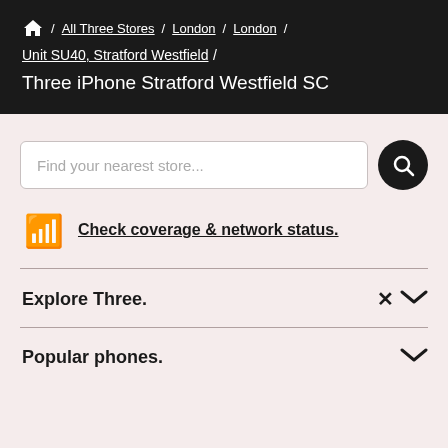🏠 / All Three Stores / London / London / Unit SU40, Stratford Westfield / Three iPhone Stratford Westfield SC
Find your nearest store...
Check coverage & network status.
Explore Three.
Popular phones.